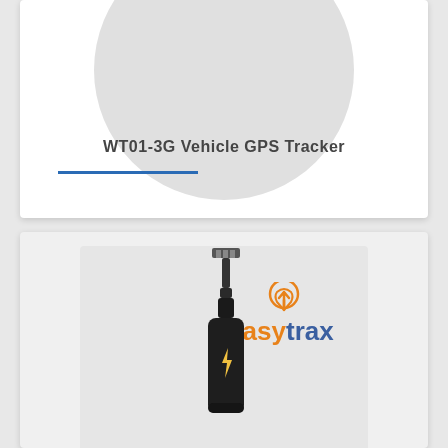[Figure (photo): Top card with circular gray background showing product area, product title 'WT01-3G Vehicle GPS Tracker' in bold dark text with a blue underline accent below it]
WT01-3G Vehicle GPS Tracker
[Figure (photo): Bottom card showing a GPS tracker device (black cylindrical unit with wire connector) against light gray background, with easytrax logo (orange 'easy' and blue 'trax' with finger pointer icon) in top right corner]